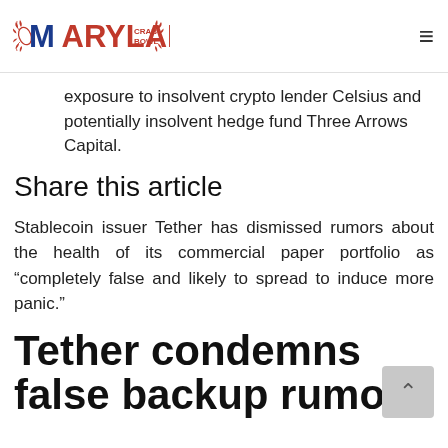MARYLAND CRAB BOWL
exposure to insolvent crypto lender Celsius and potentially insolvent hedge fund Three Arrows Capital.
Share this article
Stablecoin issuer Tether has dismissed rumors about the health of its commercial paper portfolio as “completely false and likely to spread to induce more panic.”
Tether condemns false backup rumors